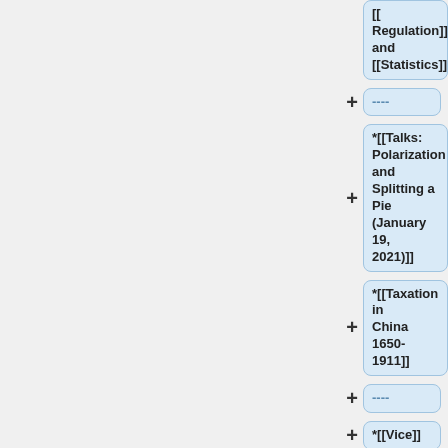[[Regulation]] and [[Statistics]]
----
*[[Talks: Polarization and Splitting a Pie (January 19, 2021)]]
*[[Taxation in China 1650-1911]]
----
*[[Vice]]
----
*[[The 2021 Texas Snowfall